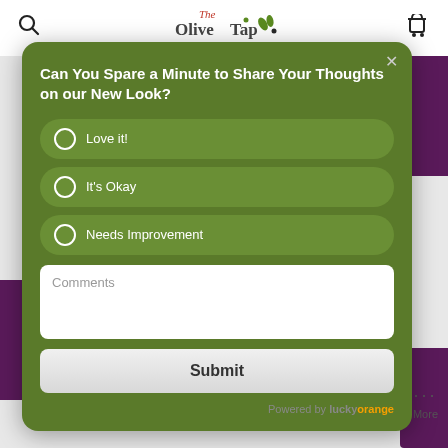The OliveTap (logo)
Can You Spare a Minute to Share Your Thoughts on our New Look?
Love it!
It's Okay
Needs Improvement
Comments
Submit
Powered by luckyorange